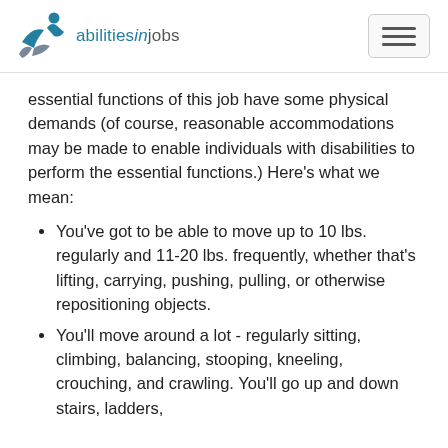abilitiesinjobs
essential functions of this job have some physical demands (of course, reasonable accommodations may be made to enable individuals with disabilities to perform the essential functions.) Here's what we mean:
You've got to be able to move up to 10 lbs. regularly and 11-20 lbs. frequently, whether that's lifting, carrying, pushing, pulling, or otherwise repositioning objects.
You'll move around a lot - regularly sitting, climbing, balancing, stooping, kneeling, crouching, and crawling. You'll go up and down stairs, ladders,